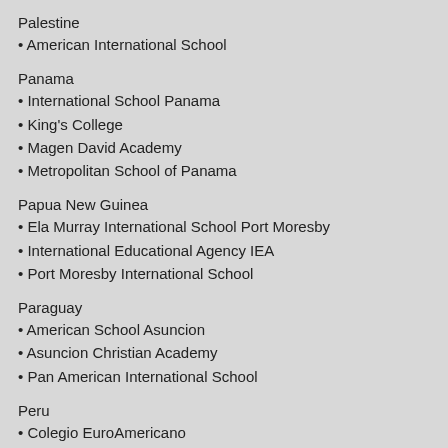Palestine
• American International School
Panama
• International School Panama
• King's College
• Magen David Academy
• Metropolitan School of Panama
Papua New Guinea
• Ela Murray International School Port Moresby
• International Educational Agency IEA
• Port Moresby International School
Paraguay
• American School Asuncion
• Asuncion Christian Academy
• Pan American International School
Peru
• Colegio EuroAmericano
• Colegio Peruano Britanico
• Colegio Roosevelt (American School) Lima (FDR)
• Davy College
• Markham College